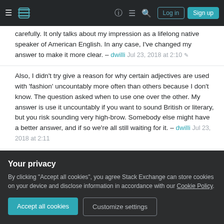Stack Exchange navigation bar with hamburger menu, logo, help, chat, search icons, Log in and Sign up buttons
carefully. It only talks about my impression as a lifelong native speaker of American English. In any case, I've changed my answer to make it more clear. – dwilli Jul 23, 2018 at 2:10 ✎
Also, I didn't try give a reason for why certain adjectives are used with 'fashion' uncountably more often than others because I don't know. The question asked when to use one over the other. My answer is use it uncountably if you want to sound British or literary, but you risk sounding very high-brow. Somebody else might have a better answer, and if so we're all still waiting for it. – dwilli Jul 23, 2018 at 2:11
Regarding formality, the point is that many Americans
Your privacy
By clicking "Accept all cookies", you agree Stack Exchange can store cookies on your device and disclose information in accordance with our Cookie Policy.
Accept all cookies
Customize settings
Show 3 more comments